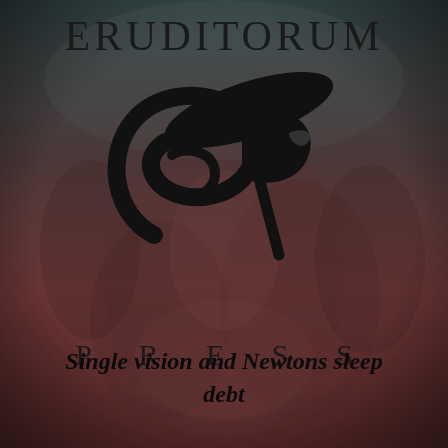[Figure (logo): Eruditorum Press logo page with dark reddish-brown background showing a classical painting of mythological figures. The page features the text ERUDITORUM at the top, a stylized EP cursive logo in the center, the word PRESS below in spaced letters, and the subtitle 'Single vision and Newtons sleep debt' at the bottom.]
ERUDITORUM
PRESS
Single vision and Newtons sleep debt